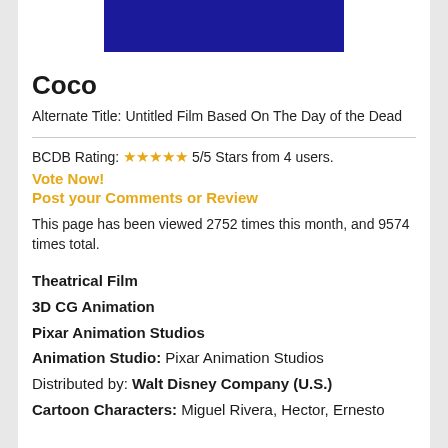[Figure (photo): Dark blue movie banner/header image for Coco film]
Coco
Alternate Title: Untitled Film Based On The Day of the Dead
BCDB Rating: ★★★★★ 5/5 Stars from 4 users.
Vote Now!
Post your Comments or Review
This page has been viewed 2752 times this month, and 9574 times total.
Theatrical Film
3D CG Animation
Pixar Animation Studios
Animation Studio: Pixar Animation Studios
Distributed by: Walt Disney Company (U.S.)
Cartoon Characters: Miguel Rivera, Hector, Ernesto